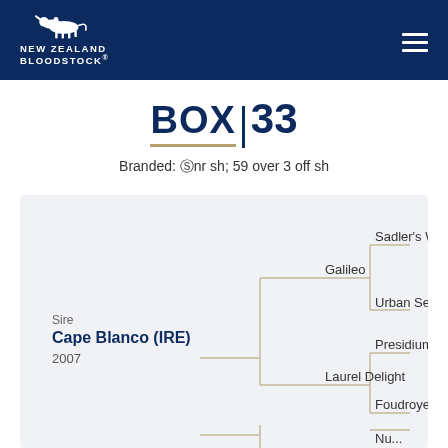[Figure (logo): New Zealand Bloodstock logo with horse silhouette on dark navy header]
BOX | 33
Branded: (5) nr sh; 59 over 3 off sh
[Figure (other): Pedigree tree showing Sire Cape Blanco (IRE) 2007, with Galileo (Sadler's Well, Urban Sea) and Laurel Delight (Presidium, Foudroyer) branches]